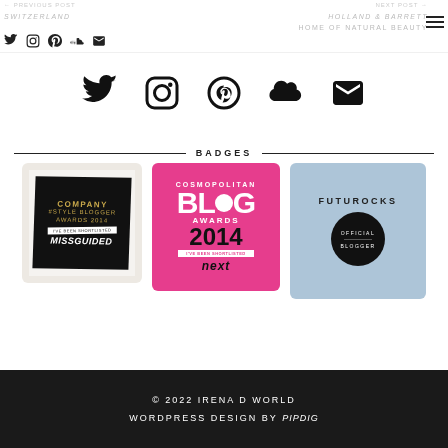← PREVIOUS POST | NEXT POST →
SWITZERLAND | HOLLAND & BARRETT HOME OF NATURAL BEAUTY
[Figure (infographic): Social media icons row: Twitter, Instagram, Pinterest, SoundCloud, Email]
BADGES
[Figure (infographic): Three blog award badges: Company #Style Blogger Awards 2014 (Missguided shortlisted), Cosmopolitan Blog Awards 2014 (Next shortlisted), Futurocks Official Blogger]
© 2022 IRENA D WORLD
WORDPRESS DESIGN BY pipdig